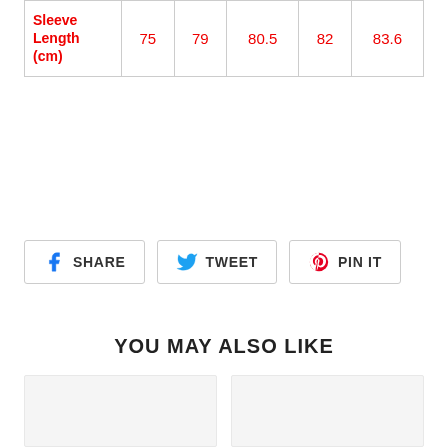|  |  |  |  |  |  |
| --- | --- | --- | --- | --- | --- |
| Sleeve Length (cm) | 75 | 79 | 80.5 | 82 | 83.6 |
[Figure (other): Social share buttons: Facebook SHARE, Twitter TWEET, Pinterest PIN IT]
YOU MAY ALSO LIKE
[Figure (other): Two product image placeholder boxes side by side]